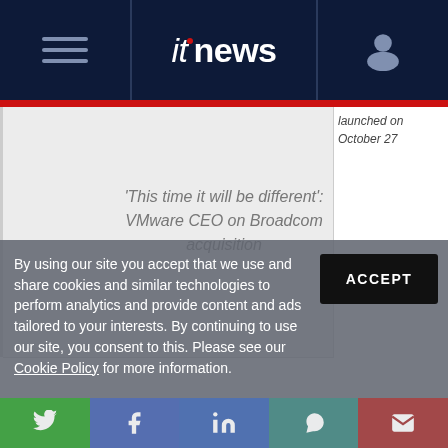itnews
launched on October 27
'This time it will be different': VMware CEO on Broadcom acquisition
By using our site you accept that we use and share cookies and similar technologies to perform analytics and provide content and ads tailored to your interests. By continuing to use our site, you consent to this. Please see our Cookie Policy for more information.